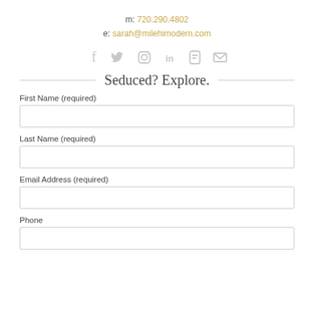m: 720.290.4802
e: sarah@milehimodern.com
[Figure (infographic): Social media icons row: Facebook, Twitter, Instagram, LinkedIn, Blogger, Email — all in light gray]
Seduced? Explore.
First Name (required)
Last Name (required)
Email Address (required)
Phone